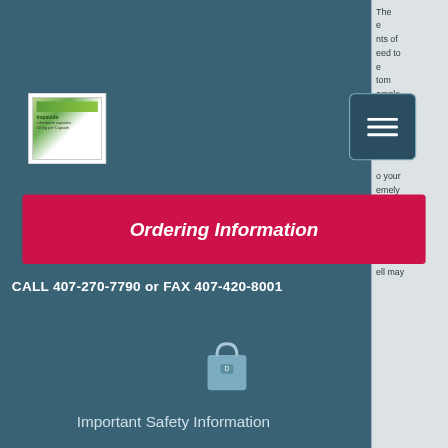[Figure (screenshot): Impavido (miltefosine) drug product box/label thumbnail in white box]
[Figure (other): Dark teal menu/hamburger button with three white horizontal lines]
Ordering Information
CALL 407-270-7790 or FAX 407-420-8001
[Figure (other): Shopping bag icon with letter D]
Important Safety Information
IMPAVIDO
The
e
nts of
eed to
e
tom
ample,
er. At
a Clear
e
o your
emely
staller
ersible
nce
ep up
ell may
[Figure (other): Bottom navigation bar with Phone, Email, Emergency icons and labels]